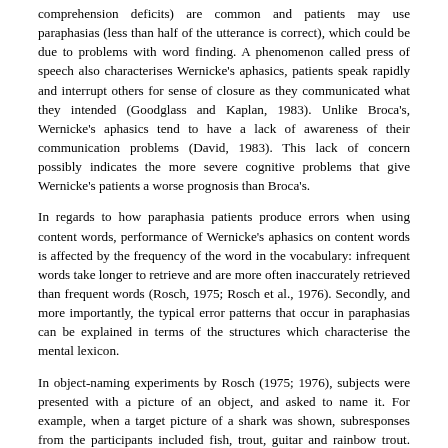comprehension deficits) are common and patients may use paraphasias (less than half of the utterance is correct), which could be due to problems with word finding. A phenomenon called press of speech also characterises Wernicke's aphasics, patients speak rapidly and interrupt others for sense of closure as they communicated what they intended (Goodglass and Kaplan, 1983). Unlike Broca's, Wernicke's aphasics tend to have a lack of awareness of their communication problems (David, 1983). This lack of concern possibly indicates the more severe cognitive problems that give Wernicke's patients a worse prognosis than Broca's.
In regards to how paraphasia patients produce errors when using content words, performance of Wernicke's aphasics on content words is affected by the frequency of the word in the vocabulary: infrequent words take longer to retrieve and are more often inaccurately retrieved than frequent words (Rosch, 1975; Rosch et al., 1976). Secondly, and more importantly, the typical error patterns that occur in paraphasias can be explained in terms of the structures which characterise the mental lexicon.
In object-naming experiments by Rosch (1975; 1976), subjects were presented with a picture of an object, and asked to name it. For example, when a target picture of a shark was shown, subresponses from the participants included fish, trout, guitar and rainbow trout. Fish and Trout represent the common types; it is possible for patients to distinguish between categorisation in taxonomies: superordinate (fish, musical instrument, fruit etc.) and the subordinate level (rainbow trout, great white shark, bass guitar). These notions, as well as being significant in understanding acquisition of words, have proved important in the study of how visually presented objects are categorised by normal adult subjects. Such subjects typically categorise an object, e.g. by naming it, at the basic object level, despite the fact that logically it could be categorised as a variety of other